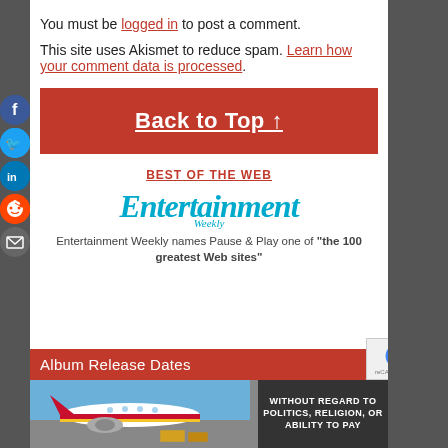You must be logged in to post a comment.
This site uses Akismet to reduce spam. Learn how your comment data is processed.
Back to Top ↑
BEST OF THE WEB
[Figure (logo): Entertainment Weekly logo in teal/blue italic serif font]
Entertainment Weekly names Pause & Play one of "the 100 greatest Web sites"
Album Release Dates
[Figure (photo): Airplane being loaded with cargo, American Airlines livery colors visible]
[Figure (other): Dark advertisement panel with text: WITHOUT REGARD TO POLITICS, RELIGION, OR ABILITY TO PAY]